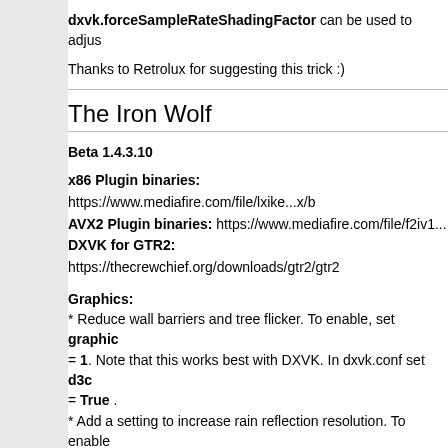dxvk.forceSampleRateShadingFactor can be used to adju...
Thanks to Retrolux for suggesting this trick :)
The Iron Wolf
Beta 1.4.3.10
x86 Plugin binaries: https://www.mediafire.com/file/lxike...x/b
AVX2 Plugin binaries: https://www.mediafire.com/file/f2iv1...
DXVK for GTR2: https://thecrewchief.org/downloads/gtr2/gtr2
Graphics:
* Reduce wall barriers and tree flicker. To enable, set graphics = 1. Note that this works best with DXVK. In dxvk.conf set d3d = True .
* Add a setting to increase rain reflection resolution. To enable graphicsRainReflectionResolutionFactor to a natural numb value to begin with) to enable this enhancement.
Thanks to Retrolux for his help, testing and encouragement w... thanks to Sikjar for additional DXVK testing.
EDIT: Re-uploaded on 12/28/21 due to small bug. Thanks Sik...